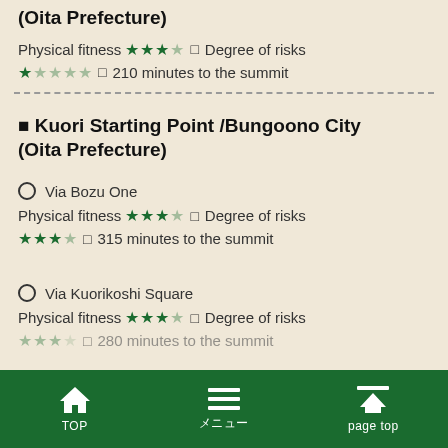(Oita Prefecture)
Physical fitness ★★★☆ □ Degree of risks
★☆☆☆☆ □ 210 minutes to the summit
■ Kuori Starting Point /Bungoono City (Oita Prefecture)
○ Via Bozu One
Physical fitness ★★★☆ □ Degree of risks
★★★☆ □ 315 minutes to the summit
○ Via Kuorikoshi Square
Physical fitness ★★★☆ □ Degree of risks
TOP   メニュー   page top